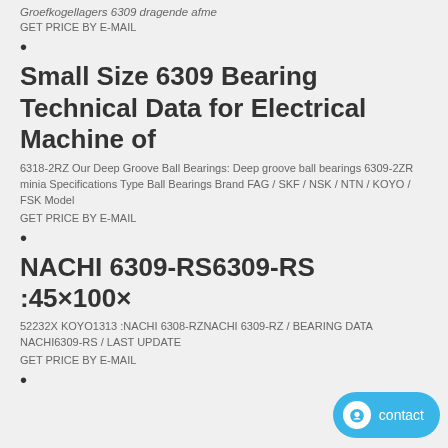Groefkogellagers 6309 dragende afme
GET PRICE BY E-MAIL
•
Small Size 6309 Bearing Technical Data for Electrical Machine of
6318-2RZ Our Deep Groove Ball Bearings: Deep groove ball bearings 6309-2ZR minia Specifications Type Ball Bearings Brand FAG / SKF / NSK / NTN / KOYO / FSK Model
GET PRICE BY E-MAIL
•
NACHI 6309-RS6309-RS :45×100×
52232X KOYO1313 :NACHI 6308-RZNACHI 6309-RZ / BEARING DATA NACHI6309-RS / LAST UPDATE
GET PRICE BY E-MAIL
•